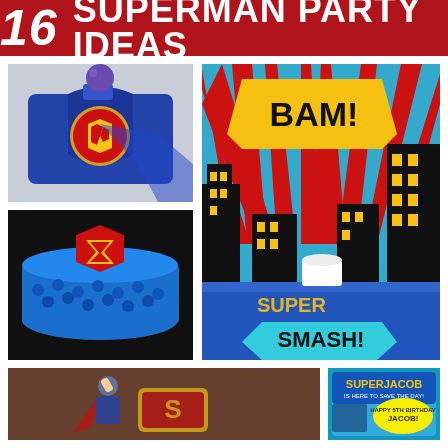16 SUPERMAN PARTY IDEAS
[Figure (photo): Superman cape and logo topper on a blue felt hat with purple decorative ball]
[Figure (photo): Superman logo cake with blue frosting rosettes and red/yellow S shield]
[Figure (photo): Superman themed party dessert table with city skyline backdrop, BAM! and SMASH! comic signs, blue tablecloth]
[Figure (photo): Superman figurine posing with comic-style Superman logo sign]
[Figure (photo): SuperJacob birthday party invitation card with comic book style lettering]